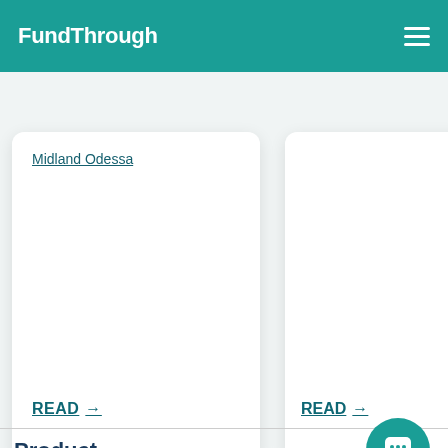FundThrough
Midland Odessa
READ →
READ →
Product